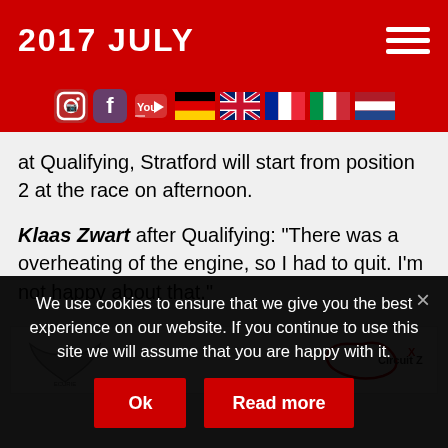2017 JULY
[Figure (other): Social media icons (Instagram, Facebook, YouTube) and country flag icons (Germany, UK, France, Italy, Netherlands) on red background bar]
at Qualifying, Stratford will start from position 2 at the race on afternoon.
Klaas Zwart after Qualifying: "There was a overheating of the engine, so I had to quit. I'm not happy about that."
[Figure (logo): Logo banner with motorsport team wing logo on left and Circuit Zolder logo on right]
We use cookies to ensure that we give you the best experience on our website. If you continue to use this site we will assume that you are happy with it.